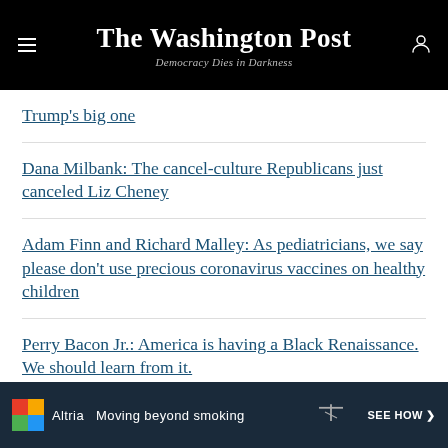The Washington Post — Democracy Dies in Darkness
Trump's big one
Dana Milbank: The cancel-culture Republicans just canceled Liz Cheney
Adam Finn and Richard Malley: As pediatricians, we say please don't use precious coronavirus vaccines on healthy children
Perry Bacon Jr.: America is having a Black Renaissance. We should learn from it.
Karen Attiah: If U.S. museums say Black Lives Matter
[Figure (infographic): Altria advertisement banner — 'Moving beyond smoking' with colorful logo and 'SEE HOW >' call to action on dark background]